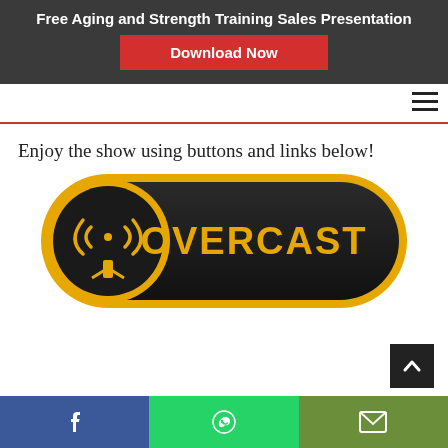Free Aging and Strength Training Sales Presentation
Download Now
Enjoy the show using buttons and links below!
[Figure (logo): Overcast podcast app button/badge with antenna tower icon and OVERCAST text in gold on dark background]
Facebook share button, WhatsApp share button, Email share button